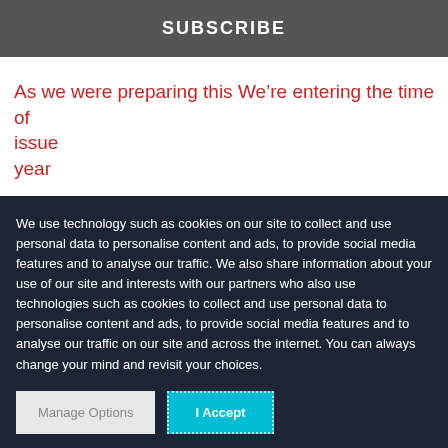SUBSCRIBE
As we were preparing this We're entering the time of issue year
We use technology such as cookies on our site to collect and use personal data to personalise content and ads, to provide social media features and to analyse our traffic. We also share information about your use of our site and interests with our partners who also use technologies such as cookies to collect and use personal data to personalise content and ads, to provide social media features and to analyse our traffic on our site and across the internet. You can always change your mind and revisit your choices.
Manage Options | I Accept